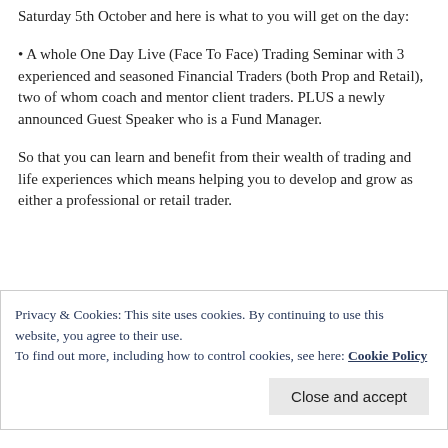Saturday 5th October and here is what to you will get on the day:
• A whole One Day Live (Face To Face) Trading Seminar with 3 experienced and seasoned Financial Traders (both Prop and Retail), two of whom coach and mentor client traders. PLUS a newly announced Guest Speaker who is a Fund Manager.
So that you can learn and benefit from their wealth of trading and life experiences which means helping you to develop and grow as either a professional or retail trader.
[Figure (other): Placeholder image box with light gray background and border]
Privacy & Cookies: This site uses cookies. By continuing to use this website, you agree to their use.
To find out more, including how to control cookies, see here: Cookie Policy